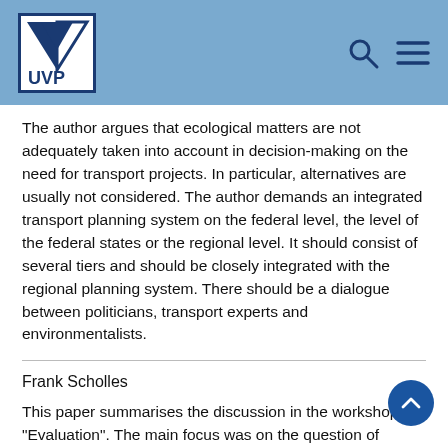UVP [logo with header bar]
The author argues that ecological matters are not adequately taken into account in decision-making on the need for transport projects. In particular, alternatives are usually not considered. The author demands an integrated transport planning system on the federal level, the level of the federal states or the regional level. It should consist of several tiers and should be closely integrated with the regional planning system. There should be a dialogue between politicians, transport experts and environmentalists.
Frank Scholles
This paper summarises the discussion in the workshop "Evaluation". The main focus was on the question of monetary evaluation and on the circumstances in which the evaluation of projects in the Federal Transport Plan takes place. The Federal Transport Plan should only consider projects of national importance and should enable the consideration of the federal transport network. An SEA for the Federal Transport Plan should outline guidelines for a sustainable mobility from which